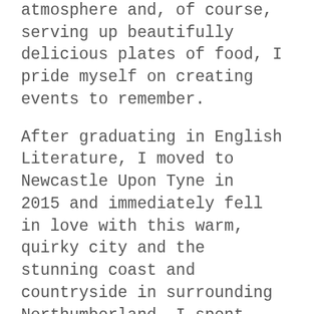atmosphere and, of course, serving up beautifully delicious plates of food, I pride myself on creating events to remember.
After graduating in English Literature, I moved to Newcastle Upon Tyne in 2015 and immediately fell in love with this warm, quirky city and the stunning coast and countryside in surrounding Northumberland. I spent three years teaching in Secondary schools in the North East however in 2018 I made the bold leap to follow my heart into the kitchen.
I spent almost two years